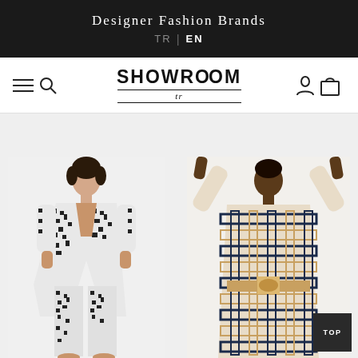Designer Fashion Brands TR | EN
[Figure (logo): SHOWROOM tr logo with navigation icons: hamburger menu, search, user, and cart icons]
[Figure (photo): Two male models wearing patterned kimono-style fashion garments. Left model wears black and white pixel/mosaic print open kimono jacket and matching trousers. Right model wears beige and navy geometric/chain-link print belted kimono robe with arms raised.]